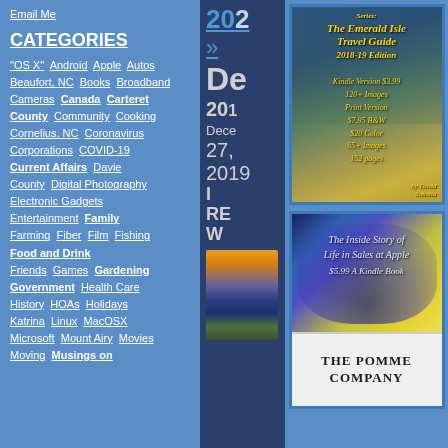Email Me
CATEGORIES
"OS X"
Android
Apple
Autos
Beaufort, NC
Books
Broadband
Cameras
Canada
Carteret County
Community
Cooking
Cornelius, NC
Coronavirus
Corporations
COVID-19
Current Affairs
Davie County
Digital Photography
Electronic Gadgets
Entertainment
Family
Farming
Fiber
Film
Fishing
Food and Drink
Friends
Games
Gardening
Government
Health Care
History
HOAs
Holidays
Katrina
Linux
MacOSX
Microsoft
Mount Airy
Movies
Moving
Musings on
2021
»
De
201
December
27,
2019
I RE W
[Figure (photo): Book cover for The Emerald Isle Travel Guide, 2018-19 Edition. Shows a beach scene. Text: Kindle Version $3.99, 120+ Images, Print Version $7.95 B&W, $20 Color, 65+ Images, 152 pages. By David Sobotta.]
[Figure (photo): Book cover for The Pomme Company: The Inside Story of Life in Sales at Apple, $5.99 A Kindle Book. Shows an artistic blue/yellow image of trees and a white card at bottom with THE POMME COMPANY in dark text.]
[Figure (photo): Sunset/landscape photo showing orange sky, silhouetted trees, in center column.]